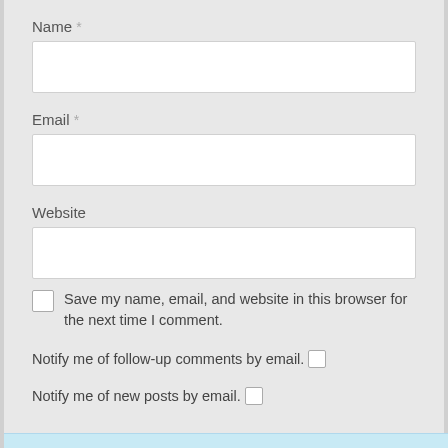Name *
Email *
Website
Save my name, email, and website in this browser for the next time I comment.
Notify me of follow-up comments by email.
Notify me of new posts by email.